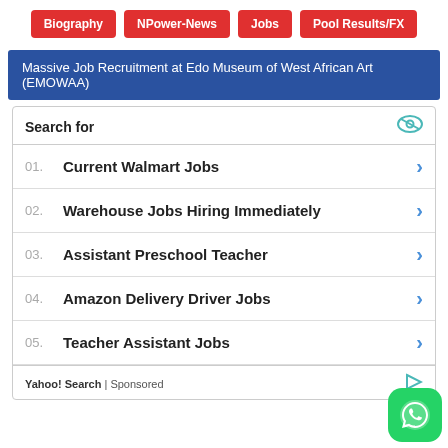Biography | NPower-News | Jobs | Pool Results/FX
Massive Job Recruitment at Edo Museum of West African Art (EMOWAA)
Search for
01. Current Walmart Jobs
02. Warehouse Jobs Hiring Immediately
03. Assistant Preschool Teacher
04. Amazon Delivery Driver Jobs
05. Teacher Assistant Jobs
Yahoo! Search | Sponsored